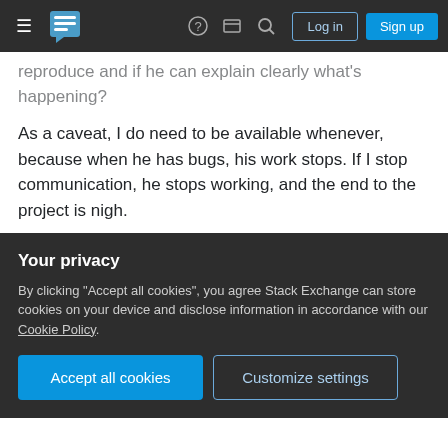Stack Exchange navigation bar with hamburger menu, logo, help, chat, search icons, Log in and Sign up buttons
reproduce and if he can explain clearly what's happening?
As a caveat, I do need to be available whenever, because when he has bugs, his work stops. If I stop communication, he stops working, and the end to the project is nigh.
communication
colleagues
Share
edited Apr 29, 2016 at 1:06
Improve this question
Your privacy
By clicking "Accept all cookies", you agree Stack Exchange can store cookies on your device and disclose information in accordance with our Cookie Policy.
Accept all cookies
Customize settings